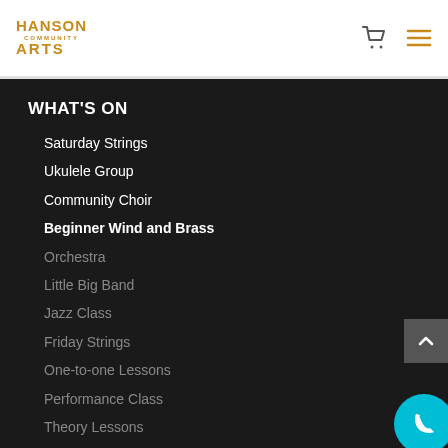[Figure (logo): Hanson Community Arts logo in orange/gold color]
WHAT'S ON
Saturday Strings
Ukulele Group
Community Choir
Beginner Wind and Brass
Orchestra
Little Big Band
Jazz Class
Friday Strings
One-to-one Lessons
Performance Class
Theory Lessons
CONTACT